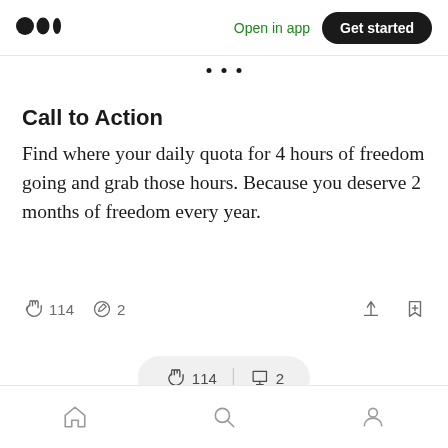Medium logo | Open in app | Get started
Call to Action
Find where your daily quota for 4 hours of freedom going and grab those hours. Because you deserve 2 months of freedom every year.
👏 114   💬 2   [share icon] [bookmark icon]
👏 114 | 💬 2
[home icon] [search icon] [profile icon]